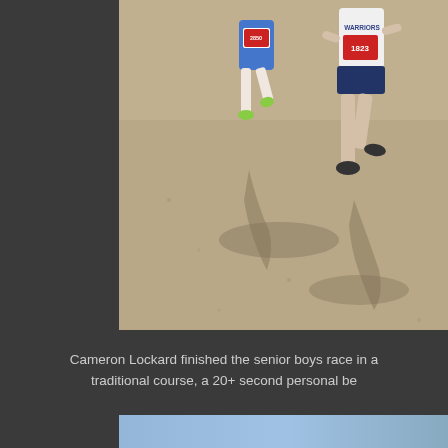[Figure (photo): Runners competing in a cross country race on a sandy/dirt course. One runner wears a blue singlet with bib number 2850, another wears a white Warriors singlet with bib number 1823. Their shadows are cast on the ground.]
Cameron Lockard finished the senior boys race in a traditional course, a 20+ second personal be...
[Figure (photo): Partial view of another race photo at the bottom of the page, showing a light blue background.]